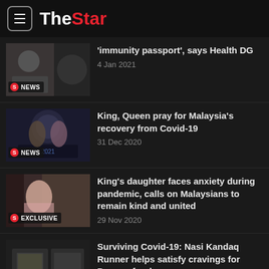The Star
'immunity passport', says Health DG — 4 Jan 2021
King, Queen pray for Malaysia's recovery from Covid-19 — 31 Dec 2020
King's daughter faces anxiety during pandemic, calls on Malaysians to remain kind and united — 29 Nov 2020
Surviving Covid-19: Nasi Kandaq Runner helps satisfy cravings for Penang food — 21 Nov 2020
Music therapy helps those under quarantine to de-stress